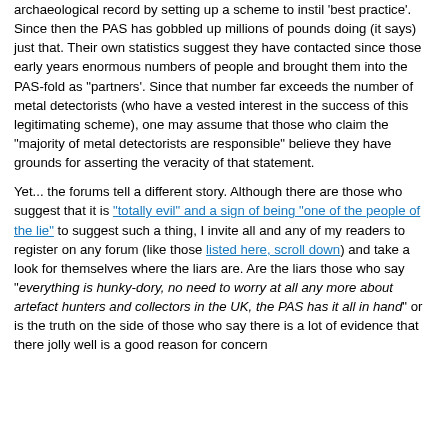archaeological record by setting up a scheme to instil 'best practice'. Since then the PAS has gobbled up millions of pounds doing (it says) just that. Their own statistics suggest they have contacted since those early years enormous numbers of people and brought them into the PAS-fold as "partners'. Since that number far exceeds the number of metal detectorists (who have a vested interest in the success of this legitimating scheme), one may assume that those who claim the "majority of metal detectorists are responsible" believe they have grounds for asserting the veracity of that statement.

Yet... the forums tell a different story. Although there are those who suggest that it is "totally evil" and a sign of being "one of the people of the lie" to suggest such a thing, I invite all and any of my readers to register on any forum (like those listed here, scroll down) and take a look for themselves where the liars are. Are the liars those who say "everything is hunky-dory, no need to worry at all any more about artefact hunters and collectors in the UK, the PAS has it all in hand" or is the truth on the side of those who say there is a lot of evidence that there jolly well is a good reason for concern